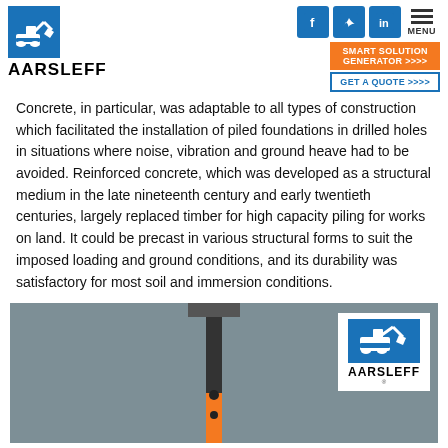AARSLEFF
Concrete, in particular, was adaptable to all types of construction which facilitated the installation of piled foundations in drilled holes in situations where noise, vibration and ground heave had to be avoided. Reinforced concrete, which was developed as a structural medium in the late nineteenth century and early twentieth centuries, largely replaced timber for high capacity piling for works on land. It could be precast in various structural forms to suit the imposed loading and ground conditions, and its durability was satisfactory for most soil and immersion conditions.
[Figure (illustration): Aarsleff branded illustration showing a pile/column in grey background with orange and dark grey colors, with Aarsleff logo in white box in top right corner]